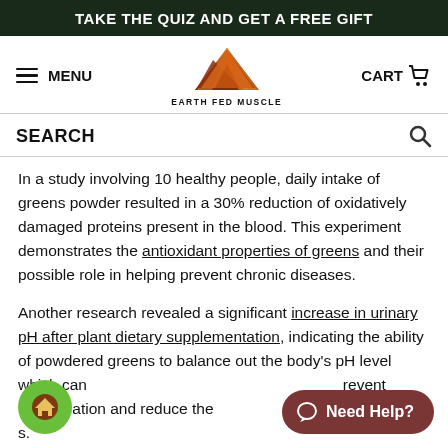TAKE THE QUIZ AND GET A FREE GIFT
[Figure (logo): Earth Fed Muscle logo with mountain graphic in orange/red/brown tones and text EARTH FED MUSCLE below]
SEARCH
In a study involving 10 healthy people, daily intake of greens powder resulted in a 30% reduction of oxidatively damaged proteins present in the blood. This experiment demonstrates the antioxidant properties of greens and their possible role in helping prevent chronic diseases.
Another research revealed a significant increase in urinary pH after plant dietary supplementation, indicating the ability of powdered greens to balance out the body's pH level which can prevent inflammation and reduce the risks of diseases.